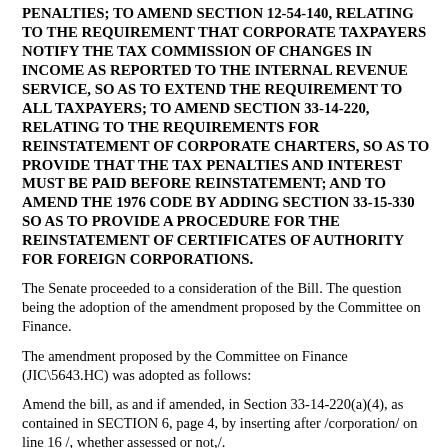PENALTIES; TO AMEND SECTION 12-54-140, RELATING TO THE REQUIREMENT THAT CORPORATE TAXPAYERS NOTIFY THE TAX COMMISSION OF CHANGES IN INCOME AS REPORTED TO THE INTERNAL REVENUE SERVICE, SO AS TO EXTEND THE REQUIREMENT TO ALL TAXPAYERS; TO AMEND SECTION 33-14-220, RELATING TO THE REQUIREMENTS FOR REINSTATEMENT OF CORPORATE CHARTERS, SO AS TO PROVIDE THAT THE TAX PENALTIES AND INTEREST MUST BE PAID BEFORE REINSTATEMENT; AND TO AMEND THE 1976 CODE BY ADDING SECTION 33-15-330 SO AS TO PROVIDE A PROCEDURE FOR THE REINSTATEMENT OF CERTIFICATES OF AUTHORITY FOR FOREIGN CORPORATIONS.
The Senate proceeded to a consideration of the Bill. The question being the adoption of the amendment proposed by the Committee on Finance.
The amendment proposed by the Committee on Finance (JIC\5643.HC) was adopted as follows:
Amend the bill, as and if amended, in Section 33-14-220(a)(4), as contained in SECTION 6, page 4, by inserting after /corporation/ on line 16 /, whether assessed or not,/.